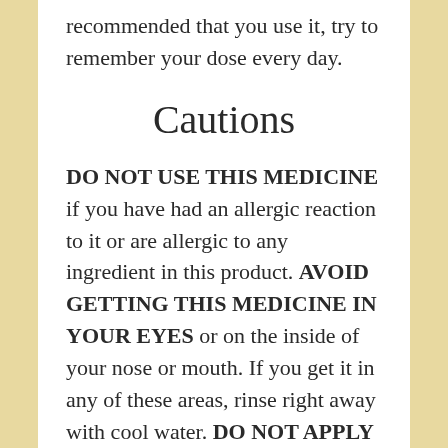recommended that you use it, try to remember your dose every day.
Cautions
DO NOT USE THIS MEDICINE if you have had an allergic reaction to it or are allergic to any ingredient in this product. AVOID GETTING THIS MEDICINE IN YOUR EYES or on the inside of your nose or mouth. If you get it in any of these areas, rinse right away with cool water. DO NOT APPLY THIS MEDICINE TO BROKEN or severely irritated skin. DO NOT EXCEED THE RECOMMENDED DOSE or use this